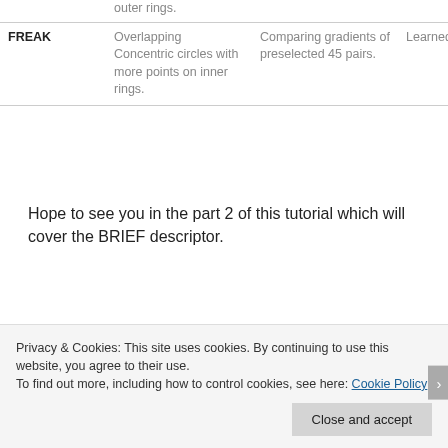|  | Sampling Pattern | Descriptor | Matching |
| --- | --- | --- | --- |
|  | outer rings. |  |  |
| FREAK | Overlapping Concentric circles with more points on inner rings. | Comparing gradients of preselected 45 pairs. | Learned pairs. |
Hope to see you in the part 2 of this tutorial which will cover the BRIEF descriptor.
Privacy & Cookies: This site uses cookies. By continuing to use this website, you agree to their use.
To find out more, including how to control cookies, see here: Cookie Policy